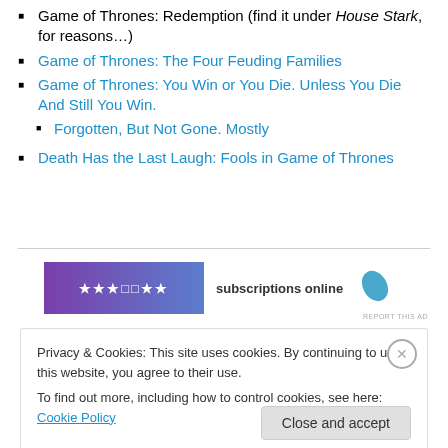Game of Thrones: Redemption (find it under House Stark, for reasons…)
Game of Thrones: The Four Feuding Families
Game of Thrones: You Win or You Die. Unless You Die And Still You Win.
Forgotten, But Not Gone. Mostly
Death Has the Last Laugh: Fools in Game of Thrones
[Figure (screenshot): Advertisement banner with purple logo and text 'subscriptions online' with a blue leaf icon, followed by REPORT THIS AD text]
Privacy & Cookies: This site uses cookies. By continuing to use this website, you agree to their use.
To find out more, including how to control cookies, see here: Cookie Policy
Close and accept